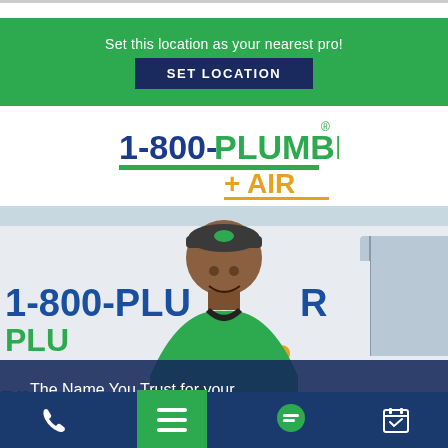Set this location as your nearest pro!
SET LOCATION
[Figure (logo): 1-800-PLUMBER + AIR logo with green underline and yellow +AIR text]
[Figure (photo): Smiling man in green polo and cap standing in front of 1-800-PLUMBER + AIR branded white van]
The Name You Trust for your
DRAIN CLEANING SERVICES
[Figure (infographic): Bottom navigation bar with phone icon, hamburger menu button (green), chat bubble, and calendar icon]